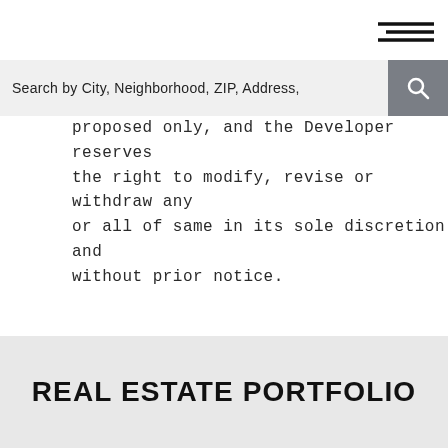[Figure (other): Hamburger menu icon with three horizontal lines in top right corner]
Search by City, Neighborhood, ZIP, Address,
proposed only, and the Developer reserves the right to modify, revise or withdraw any or all of same in its sole discretion and without prior notice.
REAL ESTATE PORTFOLIO